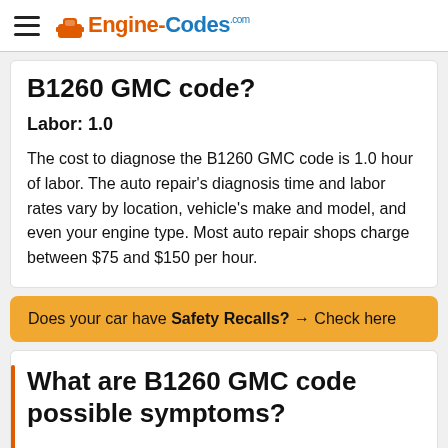Engine-Codes.com
B1260 GMC code?
Labor: 1.0
The cost to diagnose the B1260 GMC code is 1.0 hour of labor. The auto repair's diagnosis time and labor rates vary by location, vehicle's make and model, and even your engine type. Most auto repair shops charge between $75 and $150 per hour.
Does your car have Safety Recalls? → Check here
What are B1260 GMC code possible symptoms?